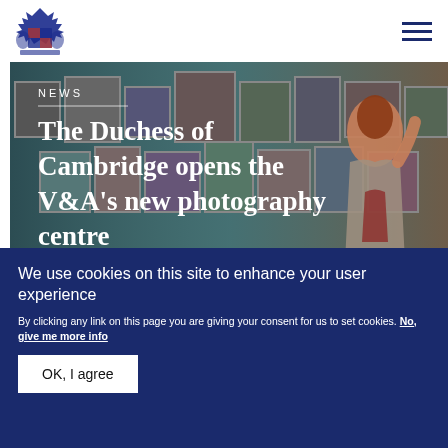[Figure (logo): V&A museum royal coat of arms logo in blue]
[Figure (photo): Woman with red hair looking up at framed photographs in a gallery with teal walls]
NEWS
The Duchess of Cambridge opens the V&A's new photography centre
We use cookies on this site to enhance your user experience
By clicking any link on this page you are giving your consent for us to set cookies. No, give me more info
OK, I agree